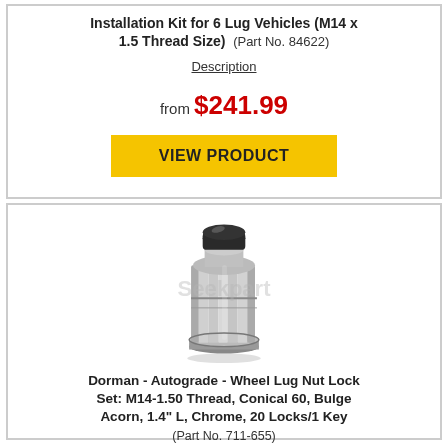Installation Kit for 6 Lug Vehicles (M14 x 1.5 Thread Size) (Part No. 84622)
Description
from $241.99
VIEW PRODUCT
[Figure (photo): Chrome lug nut lock with black top cap, splined sides, conical base]
Dorman - Autograde - Wheel Lug Nut Lock Set: M14-1.50 Thread, Conical 60, Bulge Acorn, 1.4" L, Chrome, 20 Locks/1 Key (Part No. 711-655)